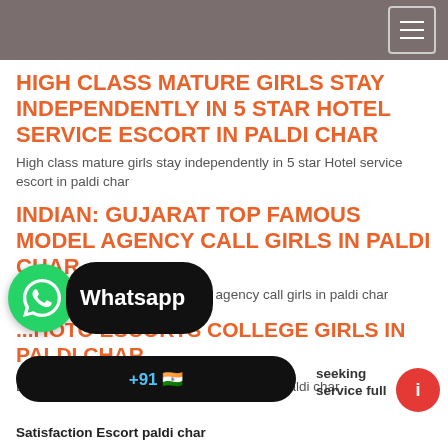HIGH CLASS MATURE GIRLS STAY INDEPENDENTLY IN 5 STAR HOTEL SERVICE ESCORT IN PALDI CHAR
High class mature girls stay independently in 5 star Hotel service escort in paldi char
INDIAN: GUJARAT TOP FAMOUS MODEL AGENCY CALL GIRLS IN PALDI CHAR
ndian: Gujarat top famous model agency call girls in paldi char
[Figure (logo): WhatsApp logo circle with phone icon and black pill-shaped Whatsapp label]
...HOTO ESCORTS COLLEGE GIRLS IN PALDI CHAR
Beautiful Real photo escorts college Girls in paldi char
seeking service full Satisfaction Escort paldi char